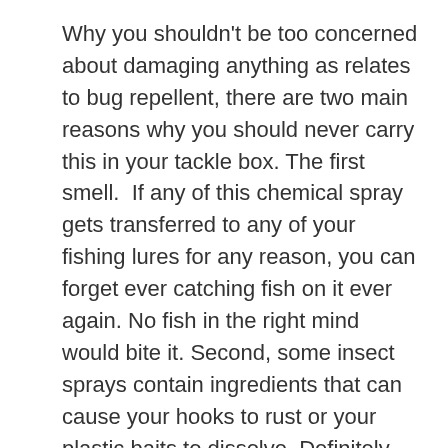Why you shouldn't be too concerned about damaging anything as relates to bug repellent, there are two main reasons why you should never carry this in your tackle box. The first smell.  If any of this chemical spray gets transferred to any of your fishing lures for any reason, you can forget ever catching fish on it ever again. No fish in the right mind would bite it. Second, some insect sprays contain ingredients that can cause your hooks to rust or your plastic baits to dissolve. Definitely carry it on you in another place.
Food And Drink
I have not met a fisherman yet who does not like to eat or drink when they are out on the